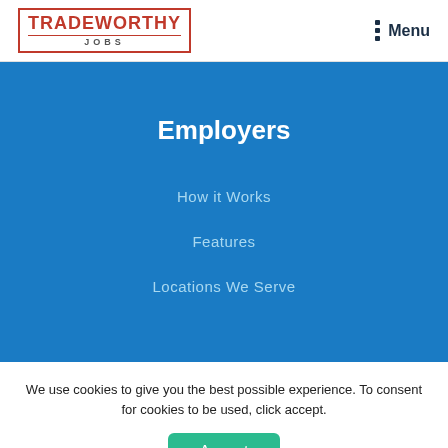TRADEWORTHY JOBS | Menu
Employers
How it Works
Features
Locations We Serve
We use cookies to give you the best possible experience. To consent for cookies to be used, click accept.
Accept
GDPR compliance powered by Autopilot.